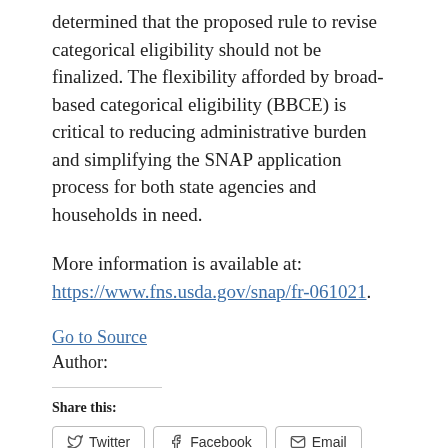determined that the proposed rule to revise categorical eligibility should not be finalized. The flexibility afforded by broad-based categorical eligibility (BBCE) is critical to reducing administrative burden and simplifying the SNAP application process for both state agencies and households in need.
More information is available at: https://www.fns.usda.gov/snap/fr-061021.
Go to Source
Author:
Share this:
Twitter  Facebook  Email  Reddit  LinkedIn  Telegram